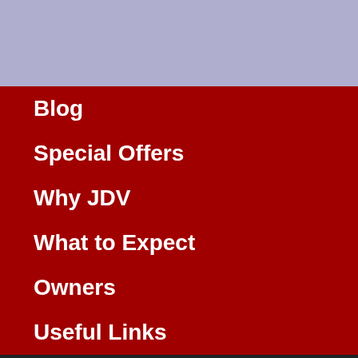Blog
Special Offers
Why JDV
What to Expect
Owners
Useful Links
This website uses cookies. By using this website you consent to our use of these cookies. For more information visit our Privacy Policy. Got It!